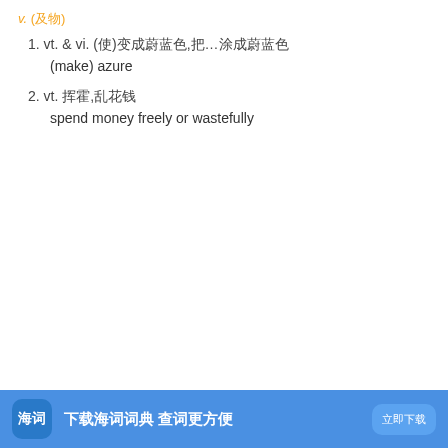v. (及物)
1. vt. & vi. (使)变成蔚蓝色,把…涂成蔚蓝色
(make) azure
2. vt. 挥霍,乱花钱
spend money freely or wastefully
蔚蓝色的
adj.   蔚蓝
1. 像晴天天空或海洋那种颜色的
2. 天蓝色
3. <徽>蔚蓝色 作为云彩背景的蔚蓝色
下载海词词典 查词更方便